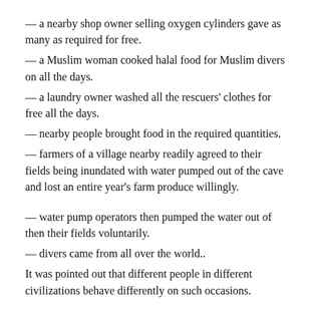— a nearby shop owner selling oxygen cylinders gave as many as required for free.
— a Muslim woman cooked halal food for Muslim divers on all the days.
— a laundry owner washed all the rescuers' clothes for free all the days.
— nearby people brought food in the required quantities.
— farmers of a village nearby readily agreed to their fields being inundated with water pumped out of the cave and lost an entire year's farm produce willingly.
— water pump operators then pumped the water out of then their fields voluntarily.
— divers came from all over the world..
It was pointed out that different people in different civilizations behave differently on such occasions.
The quality of people becomes evident from these actions.